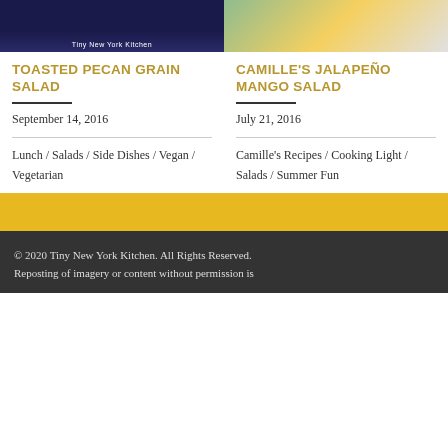[Figure (photo): Left: dark blue background photo with 'Tiny New York Kitchen' text overlay; Right: colorful mango salad in a bowl]
TOASTED PECAN GRAIN SALAD
CAMILLE'S JALAPEÑO MANGO SALAD
September 14, 2016
July 21, 2016
Lunch / Salads / Side Dishes / Vegan / Vegetarian
Camille's Recipes / Cooking Light / Salads / Summer Fun
© 2020 Tiny New York Kitchen. All Rights Reserved. Reposting of imagery or content without permission is